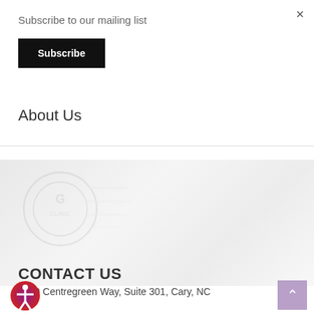Subscribe to our mailing list
Subscribe
About Us
[Figure (photo): Faint background image with a watermark/logo overlay in light grey tones, appears to be a medical or office setting]
CONTACT US
4000 Centregreen Way, Suite 301, Cary, NC